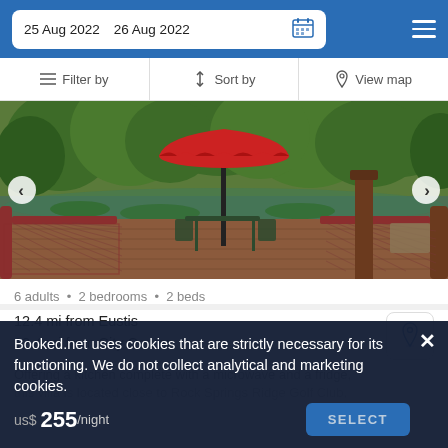25 Aug 2022   26 Aug 2022
Filter by   Sort by   View map
[Figure (photo): Outdoor deck with red patio umbrella, table and chairs, railing with mesh, overlooking a green lake/pond with lush trees in background.]
6 adults · 2 bedrooms · 2 beds
12.4 mi from Eustis
12.4 mi from City Center
Offering a kitchen complete with a microwave and a fridge, this villa is located close to Rock Springs Ridge Golf Club,
Booked.net uses cookies that are strictly necessary for its functioning. We do not collect analytical and marketing cookies. us$ 255/night   SELECT